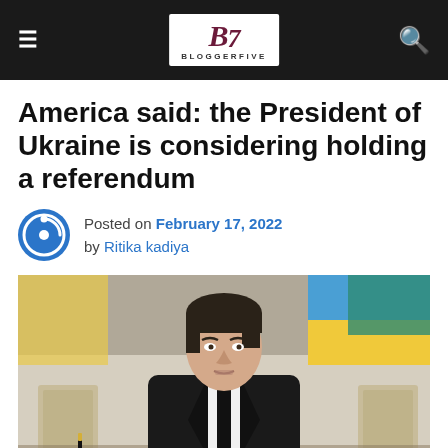BloggerFive navigation bar with logo
America said: the President of Ukraine is considering holding a referendum
Posted on February 17, 2022 by Ritika kadiya
[Figure (photo): A man in a black suit and tie sitting at a desk, speaking, with a Ukrainian flag visible in the background]